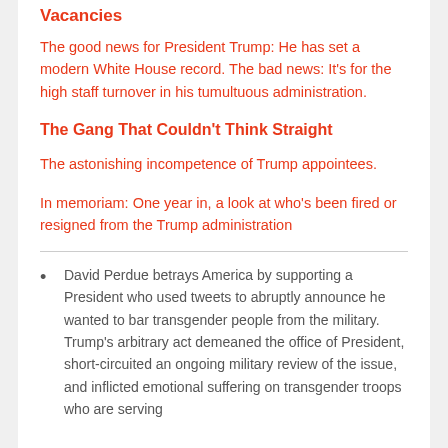Vacancies
The good news for President Trump: He has set a modern White House record. The bad news: It's for the high staff turnover in his tumultuous administration.
The Gang That Couldn't Think Straight
The astonishing incompetence of Trump appointees.
In memoriam: One year in, a look at who's been fired or resigned from the Trump administration
David Perdue betrays America by supporting a President who used tweets to abruptly announce he wanted to bar transgender people from the military. Trump's arbitrary act demeaned the office of President, short-circuited an ongoing military review of the issue, and inflicted emotional suffering on transgender troops who are serving